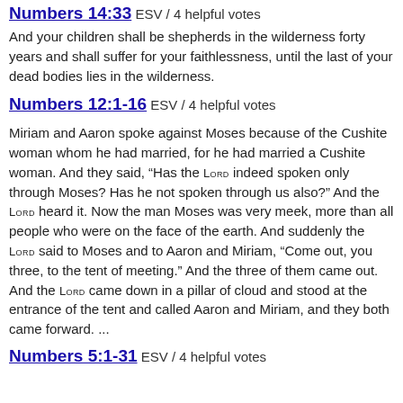Numbers 14:33 ESV / 4 helpful votes
And your children shall be shepherds in the wilderness forty years and shall suffer for your faithlessness, until the last of your dead bodies lies in the wilderness.
Numbers 12:1-16 ESV / 4 helpful votes
Miriam and Aaron spoke against Moses because of the Cushite woman whom he had married, for he had married a Cushite woman. And they said, “Has the LORD indeed spoken only through Moses? Has he not spoken through us also?” And the LORD heard it. Now the man Moses was very meek, more than all people who were on the face of the earth. And suddenly the LORD said to Moses and to Aaron and Miriam, “Come out, you three, to the tent of meeting.” And the three of them came out. And the LORD came down in a pillar of cloud and stood at the entrance of the tent and called Aaron and Miriam, and they both came forward. ...
Numbers 5:1-31 ESV / 4 helpful votes